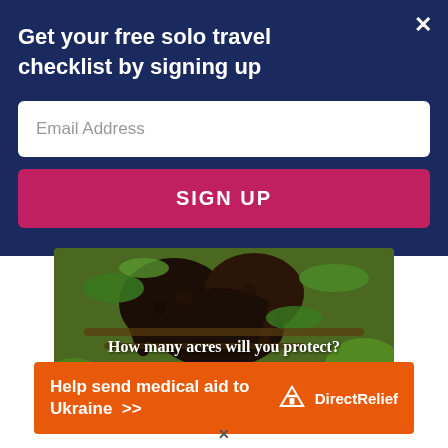Get your free solo travel checklist by signing up
Email Address
SIGN UP
[Figure (photo): Wildlife photo of dark monkeys on tree branches with green leaves. Overlay text: 'How many acres will you protect?' with a green 'PROTECT FORESTS NOW' button.]
[Figure (infographic): Orange banner ad: 'Help send medical aid to Ukraine >>' with Direct Relief logo on the right.]